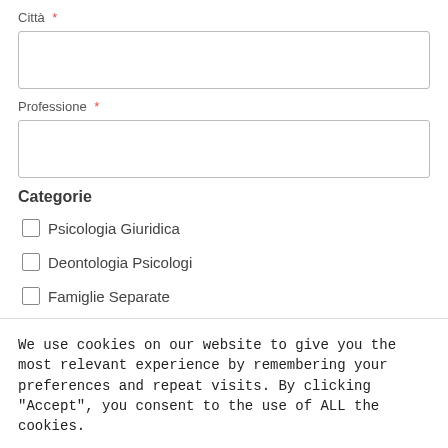Città *
Professione *
Categorie
Psicologia Giuridica
Deontologia Psicologi
Famiglie Separate
We use cookies on our website to give you the most relevant experience by remembering your preferences and repeat visits. By clicking "Accept", you consent to the use of ALL the cookies.
Cookie settings
ACCEPT